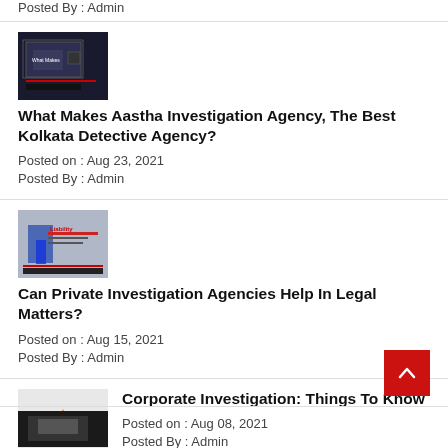Posted By :  Admin
[Figure (photo): Dark screenshot of a computer/desk scene with text 'What Makes...']
What Makes Aastha Investigation Agency, The Best Kolkata Detective Agency?
Posted on :  Aug 23, 2021
Posted By :  Admin
[Figure (photo): Photo of a person in suit with legal/detective imagery]
Can Private Investigation Agencies Help In Legal Matters?
Posted on :  Aug 15, 2021
Posted By :  Admin
[Figure (photo): Corporate investigation illustration with silhouettes]
Corporate Investigation: Things To Know
Posted on :  Aug 08, 2021
Posted By :  Admin
[Figure (photo): Dark photo, partially visible at bottom]